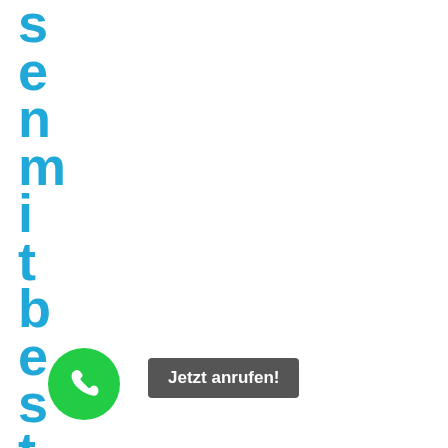s e n m i t b e s t e m p r e i s
[Figure (other): Green circular phone call button with white telephone icon]
Jetzt anrufen!